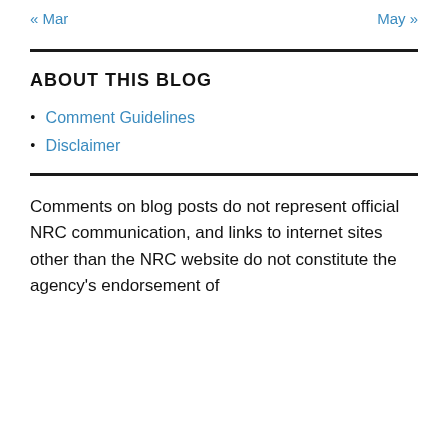« Mar    May »
ABOUT THIS BLOG
Comment Guidelines
Disclaimer
Comments on blog posts do not represent official NRC communication, and links to internet sites other than the NRC website do not constitute the agency's endorsement of